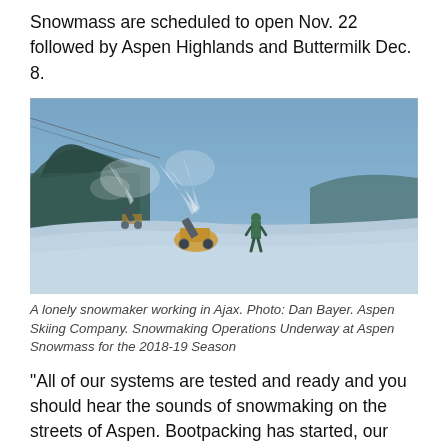Snowmass are scheduled to open Nov. 22 followed by Aspen Highlands and Buttermilk Dec. 8.
[Figure (photo): A snowmaker machine blowing snow on a ski slope at dusk with a lone worker walking away, mountains and trees in background, blue-tinted winter scene.]
A lonely snowmaker working in Ajax. Photo: Dan Bayer. Aspen Skiing Company. Snowmaking Operations Underway at Aspen Snowmass for the 2018-19 Season
“All of our systems are tested and ready and you should hear the sounds of snowmaking on the streets of Aspen. Bootpacking has started, our maintenance projects are wrapping up and our teams are preparing the mountains for opening day,” says Katie Ertl, senior vice president of